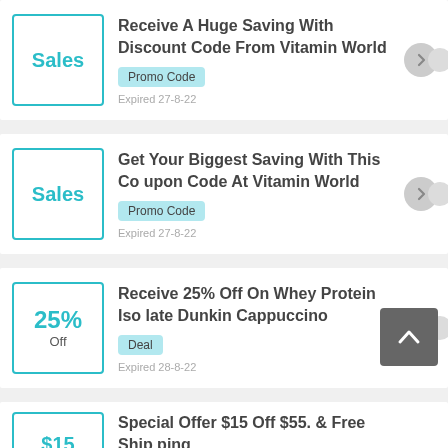Receive A Huge Saving With Discount Code From Vitamin World
Promo Code
Expired 27-8-22
Get Your Biggest Saving With This Coupon Code At Vitamin World
Promo Code
Expired 27-8-22
Receive 25% Off On Whey Protein Isolate Dunkin Cappuccino
Deal
Expired 28-8-22
Special Offer $15 Off $55. & Free Shipping